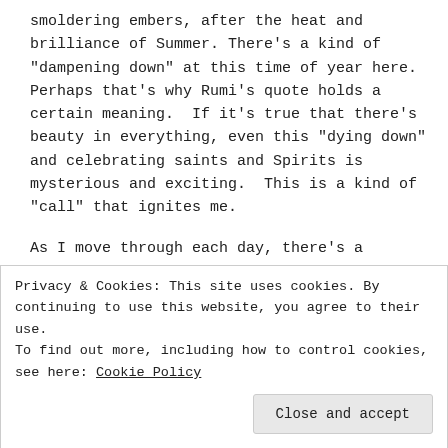smoldering embers, after the heat and brilliance of Summer. There's a kind of "dampening down" at this time of year here.  Perhaps that's why Rumi's quote holds a certain meaning.  If it's true that there's beauty in everything, even this "dying down" and celebrating saints and Spirits is mysterious and exciting.  This is a kind of "call" that ignites me.

As I move through each day, there's a singular sweetness because of the drying hydrangeas outside my window, the pungent leaf mold from the cut back urban garden, picking the last of the tomatoes
Privacy & Cookies: This site uses cookies. By continuing to use this website, you agree to their use.
To find out more, including how to control cookies, see here: Cookie Policy

Close and accept